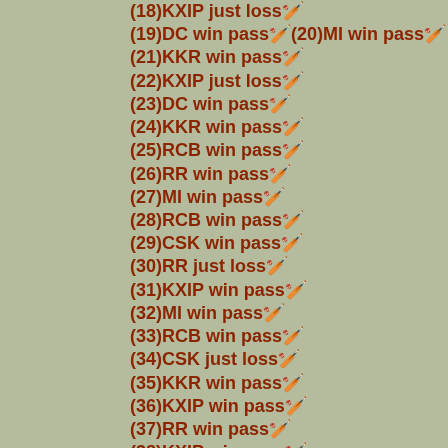(18)KXIP just loss🏏
(19)DC win pass🏏(20)MI win pass🏏
(21)KKR win pass🏏
(22)KXIP just loss🏏
(23)DC win pass🏏
(24)KKR win pass🏏
(25)RCB win pass🏏
(26)RR win pass🏏
(27)MI win pass🏏
(28)RCB win pass🏏
(29)CSK win pass🏏
(30)RR just loss🏏
(31)KXIP win pass🏏
(32)MI win pass🏏
(33)RCB win pass🏏
(34)CSK just loss🏏
(35)KKR win pass🏏
(36)KXIP win pass🏏
(37)RR win pass🏏
(38)KXIP win pass🏏
(39)RCB win pass🏏
(40)SRH win pass🏏
(41)MI win pass🏏